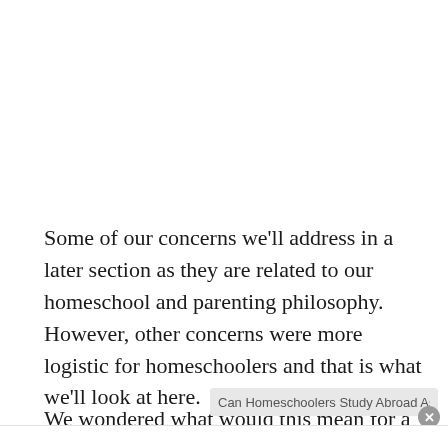Some of our concerns we'll address in a later section as they are related to our homeschool and parenting philosophy. However, other concerns were more logistic for homeschoolers and that is what we'll look at here.
We wondered what would this mean for a homeschooler...